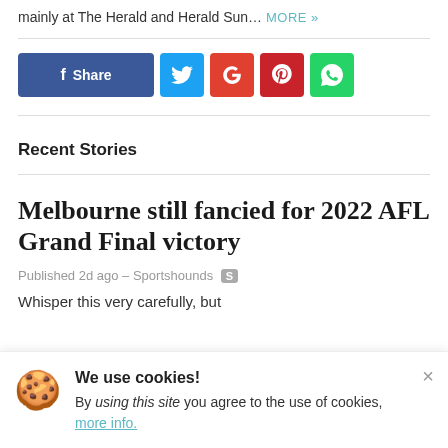mainly at The Herald and Herald Sun… MORE »
[Figure (infographic): Social share buttons: Facebook Share, Twitter, Google, Pinterest, WhatsApp]
Recent Stories
Melbourne still fancied for 2022 AFL Grand Final victory
Published 2d ago – Sportshounds [S]
Whisper this very carefully, but
We use cookies! By using this site you agree to the use of cookies, more info.